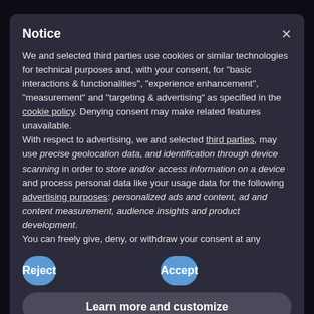[Figure (screenshot): Dark background webpage with 'Resistance BREAKOUT' title and financial/investment article text visible behind a modal cookie consent dialog]
Notice
We and selected third parties use cookies or similar technologies for technical purposes and, with your consent, for “basic interactions & functionalities”, “experience enhancement”, “measurement” and “targeting & advertising” as specified in the cookie policy. Denying consent may make related features unavailable.
With respect to advertising, we and selected third parties, may use precise geolocation data, and identification through device scanning in order to store and/or access information on a device and process personal data like your usage data for the following advertising purposes: personalized ads and content, ad and content measurement, audience insights and product development.
You can freely give, deny, or withdraw your consent at any
Reject
Accept
Learn more and customize